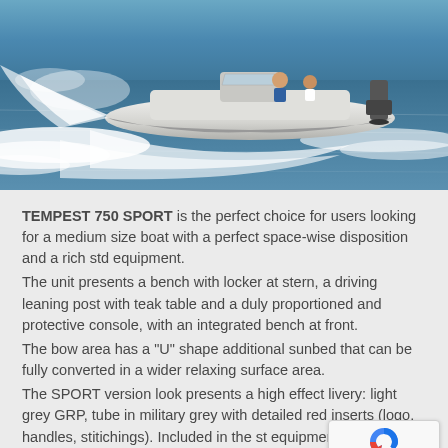[Figure (photo): A motorboat (Tempest 750 Sport) speeding across blue ocean water, creating white wake spray. View from slightly elevated angle showing the boat with outboard motor and passengers.]
TEMPEST 750 SPORT is the perfect choice for users looking for a medium size boat with a perfect space-wise disposition and a rich std equipment. The unit presents a bench with locker at stern, a driving leaning post with teak table and a duly proportioned and protective console, with an integrated bench at front. The bow area has a "U" shape additional sunbed that can be fully converted in a wider relaxing surface area. The SPORT version look presents a high effect livery: light grey GRP, tube in military grey with detailed red inserts (logo, handles, stitichings). Included in the std equipment: seastar hydraulic steering, fuel tank lt 3 ladder, USB charger.